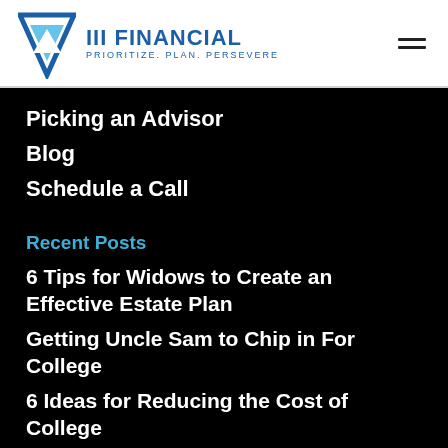[Figure (logo): III Financial logo with blue downward-pointing triangle/arrow and text 'III FINANCIAL — PRIORITIZE. PLAN. PERSEVERE']
Picking an Advisor
Blog
Schedule a Call
Recent Posts
6 Tips for Widows to Create an Effective Estate Plan
Getting Uncle Sam to Chip in For College
6 Ideas for Reducing the Cost of College